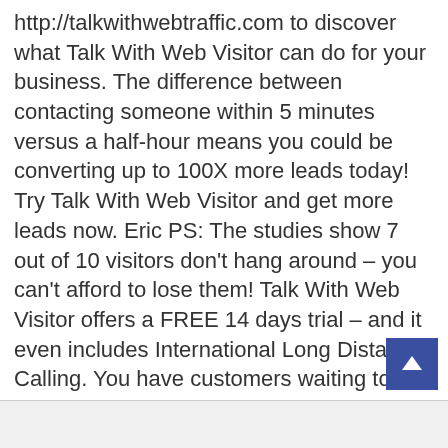http://talkwithwebtraffic.com to discover what Talk With Web Visitor can do for your business. The difference between contacting someone within 5 minutes versus a half-hour means you could be converting up to 100X more leads today! Try Talk With Web Visitor and get more leads now. Eric PS: The studies show 7 out of 10 visitors don't hang around – you can't afford to lose them! Talk With Web Visitor offers a FREE 14 days trial – and it even includes International Long Distance Calling. You have customers waiting to talk with you right now… don't keep them waiting. CLICK HERE http://talkwithwebtraffic.com to try Talk With Web Visitor now. If you'd like to unsubscribe click here http://talkwithwebtraffic.com/unsubscribe.aspx?d=sumy.ua